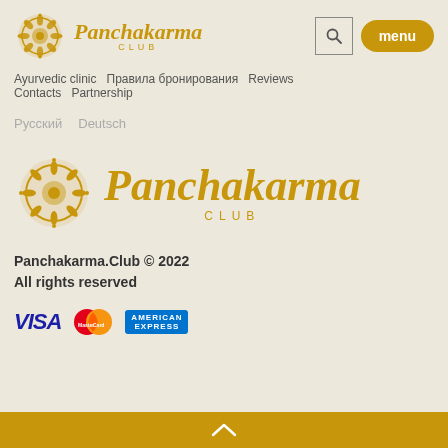[Figure (logo): Panchakarma Club logo with sun mandala icon and italic serif text]
Ayurvedic clinic  Правила бронирования  Reviews  Contacts  Partnership
Русский  Deutsch
[Figure (logo): Large Panchakarma Club logo with sun mandala icon]
Panchakarma.Club © 2022
All rights reserved
[Figure (logo): Payment icons: VISA, MasterCard, American Express]
^